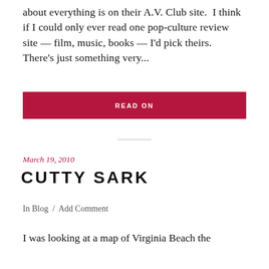about everything is on their A.V. Club site.  I think if I could only ever read one pop-culture review site — film, music, books — I'd pick theirs.  There's just something very...
READ ON
March 19, 2010
CUTTY SARK
In Blog  /  Add Comment
I was looking at a map of Virginia Beach the